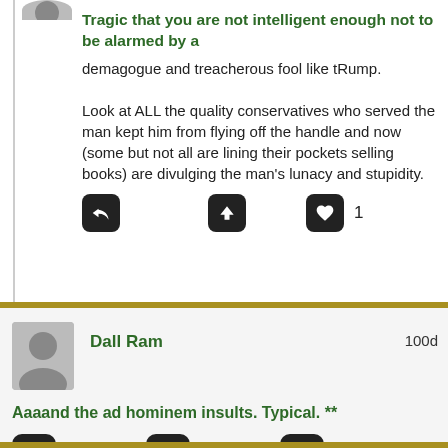Tragic that you are not intelligent enough not to be alarmed by a
demagogue and treacherous fool like tRump.

Look at ALL the quality conservatives who served the man kept him from flying off the handle and now (some but not all are lining their pockets selling books) are divulging the man's lunacy and stupidity.
Dall Ram   100d
Aaaand the ad hominem insults. Typical. **